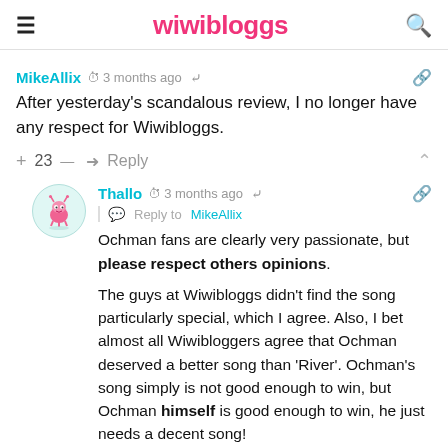wiwibloggs
MikeAllix  3 months ago
After yesterday's scandalous review, I no longer have any respect for Wiwibloggs.
+ 23 —  Reply
[Figure (illustration): Circular avatar with cartoon pink monster character on light teal background]
Thallo  3 months ago
Reply to MikeAllix
Ochman fans are clearly very passionate, but please respect others opinions.
The guys at Wiwibloggs didn't find the song particularly special, which I agree. Also, I bet almost all Wiwibloggers agree that Ochman deserved a better song than 'River'. Ochman's song simply is not good enough to win, but Ochman himself is good enough to win, he just needs a decent song!